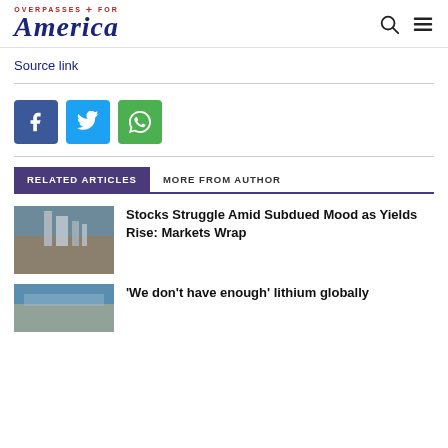OVERPASSES FOR America
Source link
[Figure (illustration): Facebook, Twitter, and WhatsApp social share buttons]
RELATED ARTICLES  MORE FROM AUTHOR
Stocks Struggle Amid Subdued Mood as Yields Rise: Markets Wrap
'We don't have enough' lithium globally